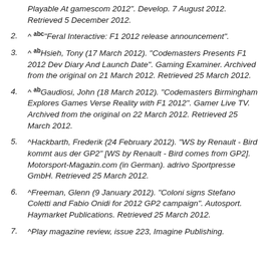Playable At gamescom 2012". Develop. 7 August 2012. Retrieved 5 December 2012.
2. ^ abc"Feral Interactive: F1 2012 release announcement".
3. ^ ab Hsieh, Tony (17 March 2012). "Codemasters Presents F1 2012 Dev Diary And Launch Date". Gaming Examiner. Archived from the original on 21 March 2012. Retrieved 25 March 2012.
4. ^ ab Gaudiosi, John (18 March 2012). "Codemasters Birmingham Explores Games Verse Reality with F1 2012". Gamer Live TV. Archived from the original on 22 March 2012. Retrieved 25 March 2012.
5. ^ Hackbarth, Frederik (24 February 2012). "WS by Renault - Bird kommt aus der GP2" [WS by Renault - Bird comes from GP2]. Motorsport-Magazin.com (in German). adrivo Sportpresse GmbH. Retrieved 25 March 2012.
6. ^ Freeman, Glenn (9 January 2012). "Coloni signs Stefano Coletti and Fabio Onidi for 2012 GP2 campaign". Autosport. Haymarket Publications. Retrieved 25 March 2012.
7. ^ Play magazine review, issue 223, Imagine Publishing.